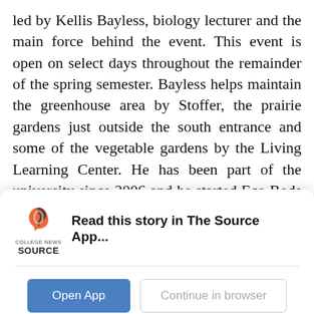led by Kellis Bayless, biology lecturer and the main force behind the event. This event is open on select days throughout the remainder of the spring semester. Bayless helps maintain the greenhouse area by Stoffer, the prairie gardens just outside the south entrance and some of the vegetable gardens by the Living Learning Center. He has been part of the university since 2006 and he started Eco Bods in 2007. He was proud to say the organization has been doing a plant sale every year since it was started.

“Students initially convinced me to get this thing
[Figure (screenshot): App promotion popup with College News Source logo, headline 'Read this story in The Source App...', and two buttons: 'Open App' (blue) and 'Continue in browser' (outlined)]